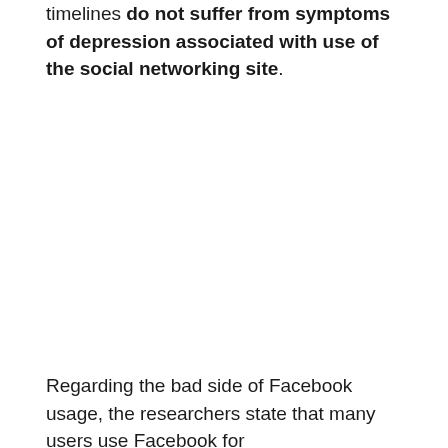timelines do not suffer from symptoms of depression associated with use of the social networking site.
Regarding the bad side of Facebook usage, the researchers state that many users use Facebook for